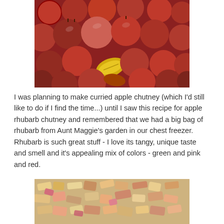[Figure (photo): A large pile of red apples with autumn leaves scattered among them]
I was planning to make curried apple chutney (which I'd still like to do if I find the time...) until I saw this recipe for apple rhubarb chutney and remembered that we had a big bag of rhubarb from Aunt Maggie's garden in our chest freezer. Rhubarb is such great stuff - I love its tangy, unique taste and smell and it's appealing mix of colors - green and pink and red.
[Figure (photo): Frozen chopped rhubarb pieces in shades of green, yellow, orange and pink]